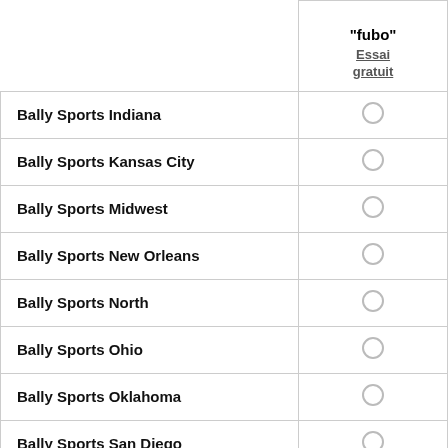|  | "fubo" Essai gratuit |
| --- | --- |
| Bally Sports Indiana | ○ |
| Bally Sports Kansas City | ○ |
| Bally Sports Midwest | ○ |
| Bally Sports New Orleans | ○ |
| Bally Sports North | ○ |
| Bally Sports Ohio | ○ |
| Bally Sports Oklahoma | ○ |
| Bally Sports San Diego | ○ |
| Bally Sports SoCal | ○ |
| Bally Sports South | ○ |
| Bally Sports Southeast | ○ |